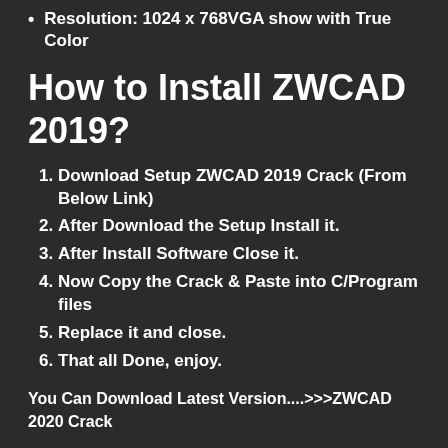Resolution: 1024 x 768VGA show with True Color
How to Install ZWCAD 2019?
Download Setup ZWCAD 2019 Crack (From Below Link)
After Download the Setup Install it.
After Install Software Close it.
Now Copy the Crack & Paste into C/Program files
Replace it and close.
That all Done, enjoy.
You Can Download Latest Version....>>>ZWCAD 2020 Crack
ZWCAD 2019 Keygen is Here!